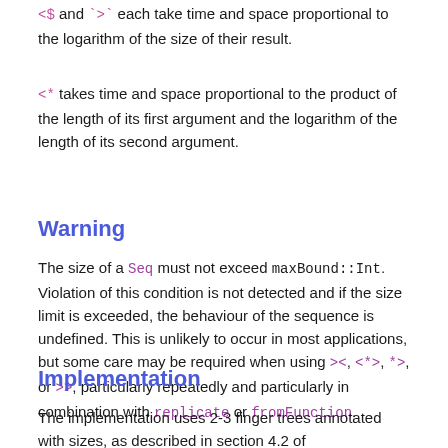<$ and `>` each take time and space proportional to the logarithm of the size of their result.
<* takes time and space proportional to the product of the length of its first argument and the logarithm of the length of its second argument.
Warning
The size of a Seq must not exceed maxBound::Int. Violation of this condition is not detected and if the size limit is exceeded, the behaviour of the sequence is undefined. This is unlikely to occur in most applications, but some care may be required when using ><, <*>, *>, or >>, particularly repeatedly and particularly in combination with replicate or fromFunction.
Implementation
The implementation uses 2-3 finger trees annotated with sizes, as described in section 4.2 of
Ralf Hinze and Ross Paterson, "Finger trees: a simple general-"